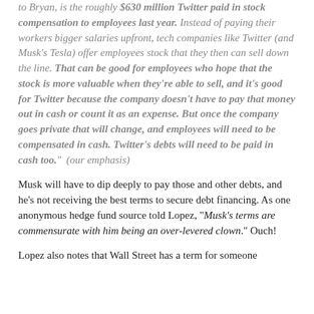to Bryan, is the roughly $630 million Twitter paid in stock compensation to employees last year. Instead of paying their workers bigger salaries upfront, tech companies like Twitter (and Musk's Tesla) offer employees stock that they then can sell down the line. That can be good for employees who hope that the stock is more valuable when they're able to sell, and it's good for Twitter because the company doesn't have to pay that money out in cash or count it as an expense. But once the company goes private that will change, and employees will need to be compensated in cash. Twitter's debts will need to be paid in cash too." (our emphasis)
Musk will have to dip deeply to pay those and other debts, and he's not receiving the best terms to secure debt financing. As one anonymous hedge fund source told Lopez, "Musk's terms are commensurate with him being an over-levered clown." Ouch!
Lopez also notes that Wall Street has a term for someone